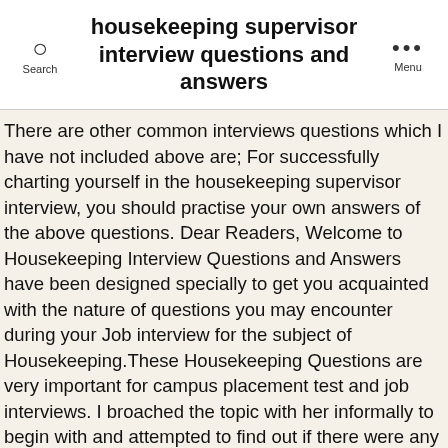housekeeping supervisor interview questions and answers
There are other common interviews questions which I have not included above are; For successfully charting yourself in the housekeeping supervisor interview, you should practise your own answers of the above questions. Dear Readers, Welcome to Housekeeping Interview Questions and Answers have been designed specially to get you acquainted with the nature of questions you may encounter during your Job interview for the subject of Housekeeping.These Housekeeping Questions are very important for campus placement test and job interviews. I broached the topic with her informally to begin with and attempted to find out if there were any personal reasons f… "If you have experienced in the past regarding the cleaning job you may know the specific chemical and machine to dispense them out. That one obviously not so well. Use these 17 housekeeping interview questions and answers to pass your interview with ease. With an additional 62 professionally written interview answer